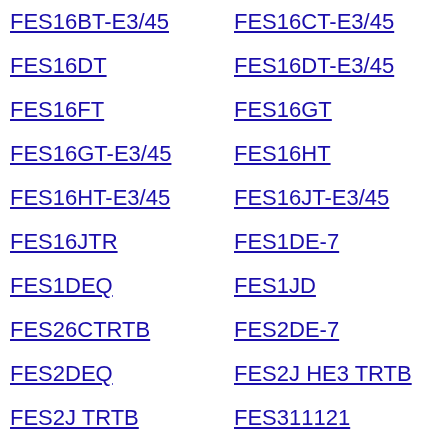FES16BT-E3/45
FES16CT-E3/45
FES16DT
FES16DT-E3/45
FES16FT
FES16GT
FES16GT-E3/45
FES16HT
FES16HT-E3/45
FES16JT-E3/45
FES16JTR
FES1DE-7
FES1DEQ
FES1JD
FES26CTRTB
FES2DE-7
FES2DEQ
FES2J HE3 TRTB
FES2J TRTB
FES311121
FES8BT/45
FES8BT-E3/45